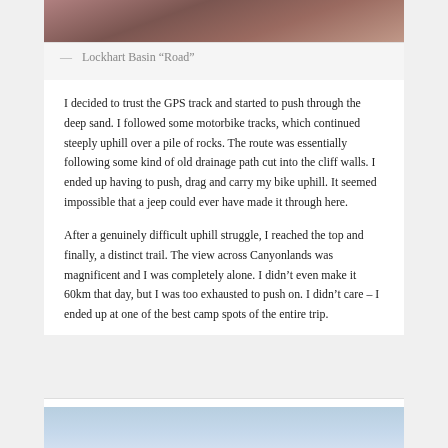[Figure (photo): Partial view of Lockhart Basin Road, rocky terrain with reddish cliff walls]
— Lockhart Basin “Road”
I decided to trust the GPS track and started to push through the deep sand. I followed some motorbike tracks, which continued steeply uphill over a pile of rocks. The route was essentially following some kind of old drainage path cut into the cliff walls. I ended up having to push, drag and carry my bike uphill. It seemed impossible that a jeep could ever have made it through here.
After a genuinely difficult uphill struggle, I reached the top and finally, a distinct trail. The view across Canyonlands was magnificent and I was completely alone. I didn’t even make it 60km that day, but I was too exhausted to push on. I didn’t care – I ended up at one of the best camp spots of the entire trip.
[Figure (photo): Partial view of a blue sky landscape over Canyonlands area]